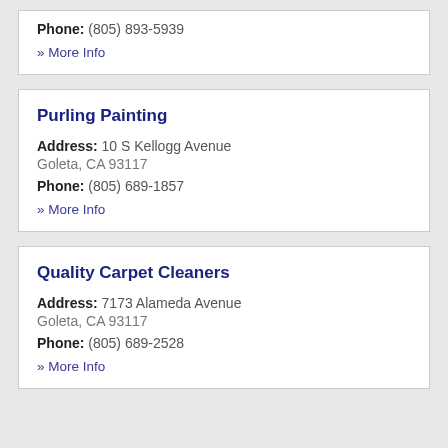Phone: (805) 893-5939
» More Info
Purling Painting
Address: 10 S Kellogg Avenue Goleta, CA 93117
Phone: (805) 689-1857
» More Info
Quality Carpet Cleaners
Address: 7173 Alameda Avenue Goleta, CA 93117
Phone: (805) 689-2528
» More Info